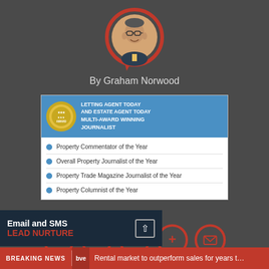[Figure (photo): Circular profile photo of Graham Norwood with red speech bubble/circle border]
By Graham Norwood
[Figure (infographic): Award badge for Letting Agent Today and Estate Agent Today Multi-Award Winning Journalist with blue header and gold medal]
Property Commentator of the Year
Overall Property Journalist of the Year
Property Trade Magazine Journalist of the Year
Property Columnist of the Year
[Figure (other): Row of five red social media icon buttons: Facebook, Twitter, LinkedIn, Plus, Email]
[Figure (other): Email and SMS Lead Nurture banner advertisement]
BREAKING NEWS  Rental market to outperform sales for years t…